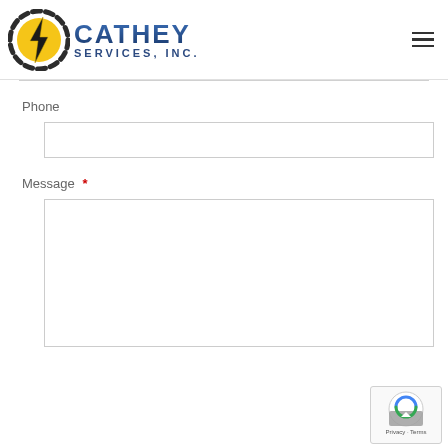[Figure (logo): Cathey Services, Inc. logo with a lightning bolt icon in yellow/gold inside a circular gear/chain border, and bold navy/blue text reading CATHEY SERVICES, INC.]
Phone
Message *
[Figure (other): reCAPTCHA badge with Google branding and Privacy - Terms links, plus a scroll-to-top arrow button overlay]